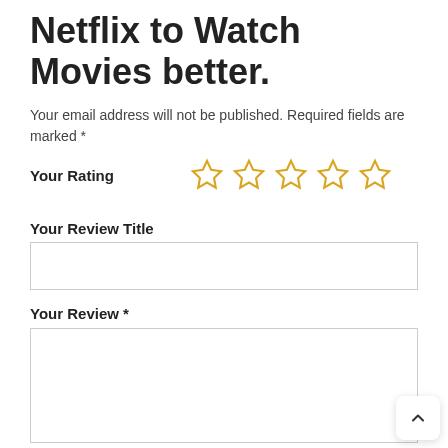Netflix to Watch Movies better.
Your email address will not be published. Required fields are marked *
Your Rating
[Figure (other): Five empty star rating icons in gold/yellow outline]
Your Review Title
[Figure (other): Empty text input box for review title]
Your Review *
[Figure (other): Empty textarea for review content with resize handle]